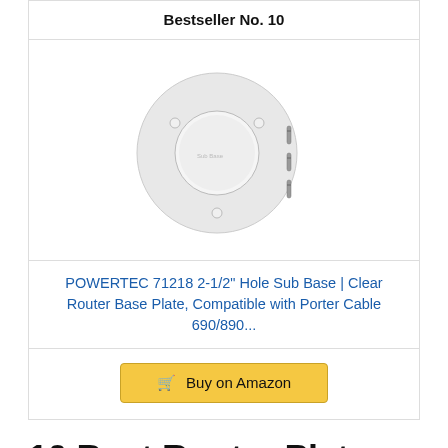Bestseller No. 10
[Figure (photo): POWERTEC 71218 router sub base plate, white circular ring shape with center hole and screws, shown with mounting screws to the right]
POWERTEC 71218 2-1/2" Hole Sub Base | Clear Router Base Plate, Compatible with Porter Cable 690/890...
Buy on Amazon
10 Best Router Plate You Should Consider In 2022